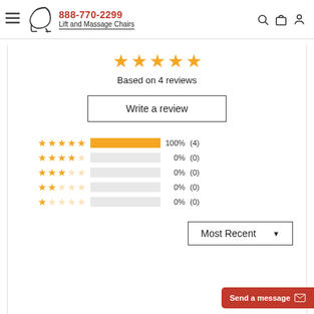888-770-2299 Lift and Massage Chairs
[Figure (other): Five gold stars rating display]
Based on 4 reviews
Write a review
[Figure (bar-chart): Rating breakdown]
Most Recent